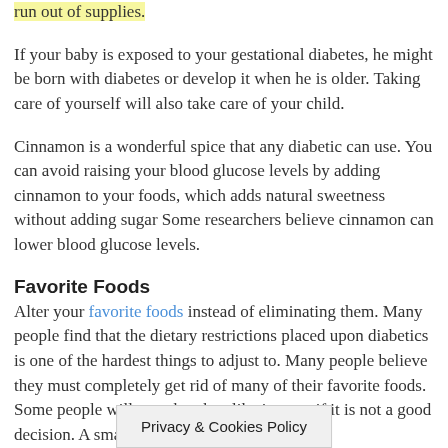run out of supplies.
If your baby is exposed to your gestational diabetes, he might be born with diabetes or develop it when he is older. Taking care of yourself will also take care of your child.
Cinnamon is a wonderful spice that any diabetic can use. You can avoid raising your blood glucose levels by adding cinnamon to your foods, which adds natural sweetness without adding sugar Some researchers believe cinnamon can lower blood glucose levels.
Favorite Foods
Alter your favorite foods instead of eliminating them. Many people find that the dietary restrictions placed upon diabetics is one of the hardest things to adjust to. Many people believe they must completely get rid of many of their favorite foods. Some people will eat what they like in even if it is not a good decision. A smart way to solve y...ing
Privacy & Cookies Policy